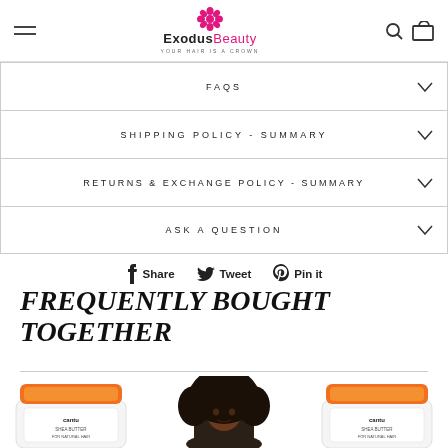ExodusBeauty — YOUR HAIR IS A CROWN
FAQS
SHIPPING POLICY - SUMMARY
RETURNS & EXCHANGE POLICY - SUMMARY
ASK A QUESTION
Share  Tweet  Pin it
FREQUENTLY BOUGHT TOGETHER
[Figure (photo): Three product images side by side: two orange-lidded Cantu hair product jars on the left and right, and a woman with natural curly hair in the center]